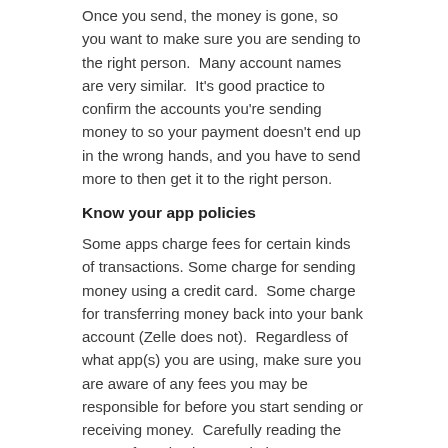Once you send, the money is gone, so you want to make sure you are sending to the right person. Many account names are very similar. It's good practice to confirm the accounts you're sending money to so your payment doesn't end up in the wrong hands, and you have to send more to then get it to the right person.
Know your app policies
Some apps charge fees for certain kinds of transactions. Some charge for sending money using a credit card. Some charge for transferring money back into your bank account (Zelle does not). Regardless of what app(s) you are using, make sure you are aware of any fees you may be responsible for before you start sending or receiving money. Carefully reading the terms of service is a good place to start.
Beware of scams
Make sure you know what you are getting when you use payment apps. Scammers often try to get paid using apps